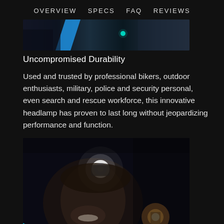OVERVIEW   SPECS   FAQ   REVIEWS
[Figure (photo): Dark banner image showing a person wearing a headlamp with a blue accent slash graphic and a glowing cyan LED light indicator, against a dark background.]
Uncompromised Durability
Used and trusted by professional bikers, outdoor enthusiasts, military, police and security personal, even search and rescue workforce, this innovative headlamp has proven to last long without jeopardizing performance and function.
[Figure (photo): Close-up photo of a smiling woman wearing a bright LED headlamp on her head in a dark environment, with a lantern glowing in the lower right background and a cyan accent in the lower left corner.]